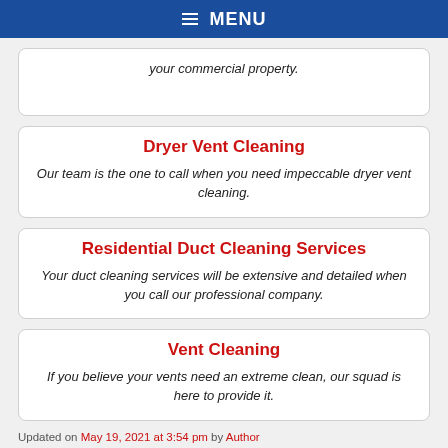≡ MENU
your commercial property.
Dryer Vent Cleaning
Our team is the one to call when you need impeccable dryer vent cleaning.
Residential Duct Cleaning Services
Your duct cleaning services will be extensive and detailed when you call our professional company.
Vent Cleaning
If you believe your vents need an extreme clean, our squad is here to provide it.
Updated on May 19, 2021 at 3:54 pm by Author